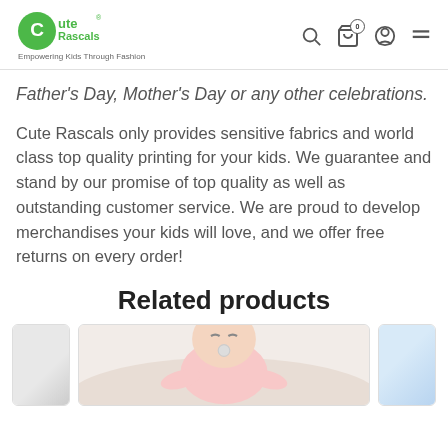Cute Rascals — Empowering Kids Through Fashion
Father's Day, Mother's Day or any other celebrations.
Cute Rascals only provides sensitive fabrics and world class top quality printing for your kids. We guarantee and stand by our promise of top quality as well as outstanding customer service. We are proud to develop merchandises your kids will love, and we offer free returns on every order!
Related products
[Figure (photo): Photo of a sleeping baby in a pink onesie]
[Figure (photo): Partial photo of a kids product on the right side]